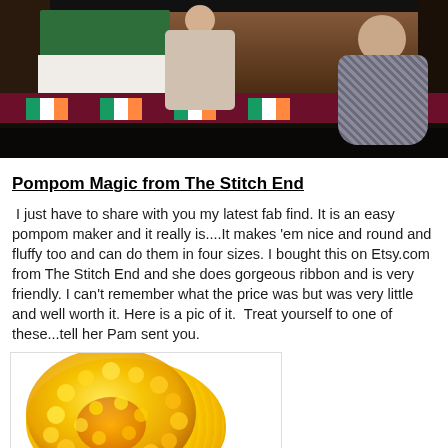[Figure (photo): A stage or event hall scene with a green-draped table, Irish flags, and a woman sitting on the right side, dark interior background.]
Pompom Magic from The Stitch End
I just have to share with you my latest fab find. It is an easy pompom maker and it really is....It makes 'em nice and round and fluffy too and can do them in four sizes. I bought this on Etsy.com from The Stitch End and she does gorgeous ribbon and is very friendly. I can't remember what the price was but was very little and well worth it. Here is a pic of it.  Treat yourself to one of these...tell her Pam sent you.
[Figure (photo): A bright yellow fluffy pompom on a white background, with an orange center visible and a yellow plastic pompom maker clip at the bottom.]